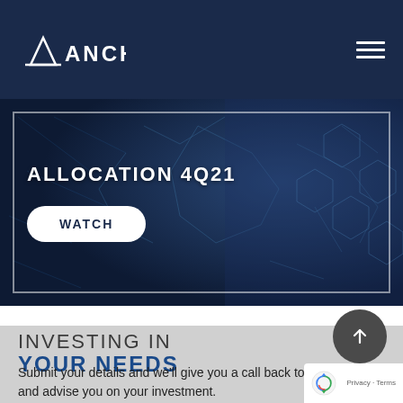[Figure (logo): Anchor logo with triangle icon and company name in white on dark navy background, with hamburger menu icon on the right]
[Figure (screenshot): Hero banner image showing 'ALLOCATION 4Q21' text with a WATCH button over a dark tech/network themed background with hexagons and a compass]
INVESTING IN YOUR NEEDS
Submit your details and we'll give you a call back to and advise you on your investment.